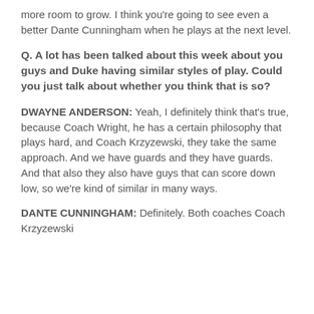more room to grow. I think you're going to see even a better Dante Cunningham when he plays at the next level.
Q. A lot has been talked about this week about you guys and Duke having similar styles of play. Could you just talk about whether you think that is so?
DWAYNE ANDERSON: Yeah, I definitely think that's true, because Coach Wright, he has a certain philosophy that plays hard, and Coach Krzyzewski, they take the same approach. And we have guards and they have guards. And that also they also have guys that can score down low, so we're kind of similar in many ways.
DANTE CUNNINGHAM: Definitely. Both coaches Coach Krzyzewski